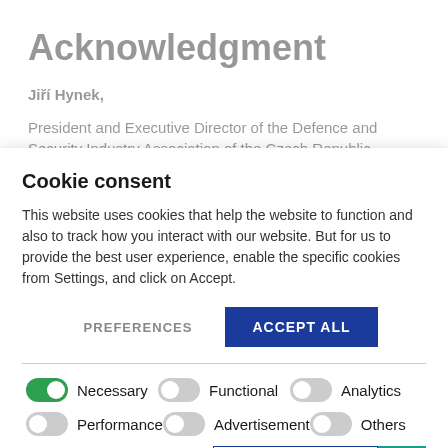Acknowledgment
Jiří Hynek,
President and Executive Director of the Defence and Security Industry Association of the Czech Republic,
Cookie consent
This website uses cookies that help the website to function and also to track how you interact with our website. But for us to provide the best user experience, enable the specific cookies from Settings, and click on Accept.
PREFERENCES   ACCEPT ALL
Necessary   Functional   Analytics   Performance   Advertisement   Others
SAVE MY PREFERENCES